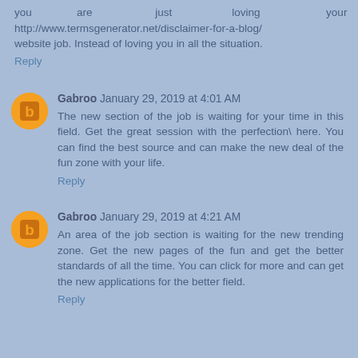you are just loving your http://www.termsgenerator.net/disclaimer-for-a-blog/ website job. Instead of loving you in all the situation.
Reply
Gabroo January 29, 2019 at 4:01 AM
The new section of the job is waiting for your time in this field. Get the great session with the perfection\ here. You can find the best source and can make the new deal of the fun zone with your life.
Reply
Gabroo January 29, 2019 at 4:21 AM
An area of the job section is waiting for the new trending zone. Get the new pages of the fun and get the better standards of all the time. You can click for more and can get the new applications for the better field.
Reply